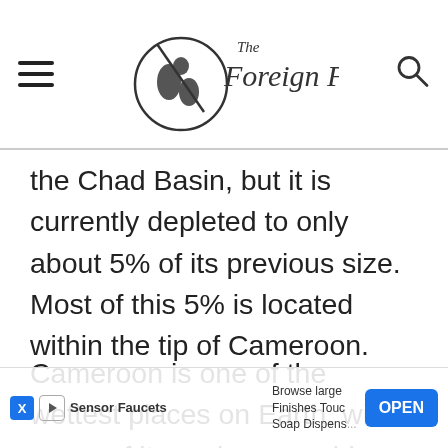The Foreign Fork
the Chad Basin, but it is currently depleted to only about 5% of its previous size. Most of this 5% is located within the tip of Cameroon.
Cameroon is one of the wettest places on Earth, with some of its regions reaching rainfall levels of 10,299 mm. 10% of the roads in the country are paved, but the small percentage helps be spread... [continues]